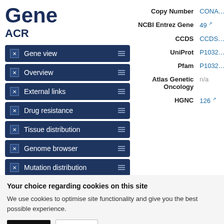Gene
ACR
Gene view
Overview
External links
Drug resistance
Tissue distribution
Genome browser
Mutation distribution
Variants
References
| Label | Value |
| --- | --- |
| Copy Number | CONA... |
| NCBI Entrez Gene | 49 |
| CCDS | CCDS... |
| UniProt | P1032... |
| Pfam | P1032... |
| Atlas Genetic Oncology | n/a |
| HGNC | 126 |
Drug resistance
Your choice regarding cookies on this site
We use cookies to optimise site functionality and give you the best possible experience.